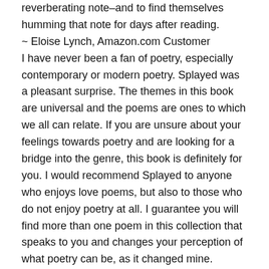reverberating note–and to find themselves humming that note for days after reading.
~ Eloise Lynch, Amazon.com Customer
I have never been a fan of poetry, especially contemporary or modern poetry. Splayed was a pleasant surprise. The themes in this book are universal and the poems are ones to which we all can relate. If you are unsure about your feelings towards poetry and are looking for a bridge into the genre, this book is definitely for you. I would recommend Splayed to anyone who enjoys love poems, but also to those who do not enjoy poetry at all. I guarantee you will find more than one poem in this collection that speaks to you and changes your perception of what poetry can be, as it changed mine.
~ Laura L Sykes, Amazon.com Customer
A strong word thrown out over the cover of a Rorschach that at times looks like a pelvic bone, an oncoming